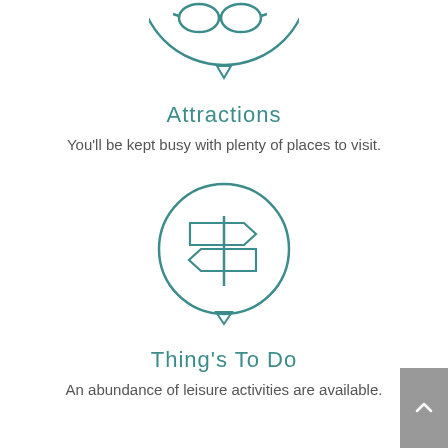[Figure (illustration): Circular teal icon with glasses symbol, partially cropped at top]
Attractions
You'll be kept busy with plenty of places to visit.
[Figure (illustration): Circular teal icon with directional signpost symbol]
Thing's To Do
An abundance of leisure activities are available.